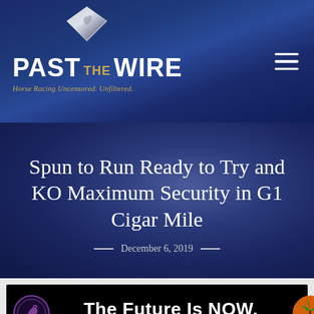[Figure (logo): Past The Wire logo with diamond/horse icon above, white bold text 'PAST THE WIRE' with gold 'THE', gold italic tagline 'Horse Racing Uncensored. Unfiltered.' on dark blue background, hamburger menu icon top right]
Spun to Run Ready to Try and KO Maximum Security in G1 Cigar Mile
December 6, 2019
[Figure (other): Advertisement banner: black background with circular horse logo on left (Circle 6 Ranch), large white bold text 'The Future Is NOW.' center, smaller text 'THOROUGHBRED PARTNERSHIPS AT A FRACTION OF THE COST', tropical horse racing logo on right]